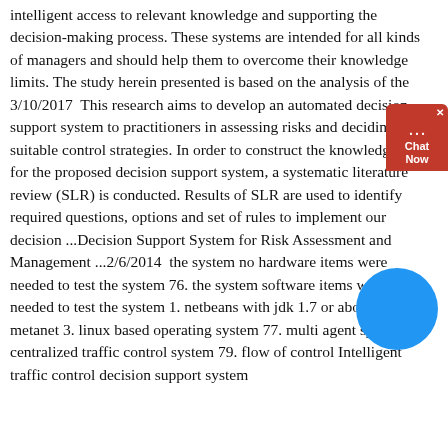intelligent access to relevant knowledge and supporting the decision-making process. These systems are intended for all kinds of managers and should help them to overcome their knowledge limits. The study herein presented is based on the analysis of the 3/10/2017  This research aims to develop an automated decision support system to practitioners in assessing risks and deciding on suitable control strategies. In order to construct the knowledge base for the proposed decision support system, a systematic literature review (SLR) is conducted. Results of SLR are used to identify required questions, options and set of rules to implement our decision ...Decision Support System for Risk Assessment and Management ...2/6/2014  the system no hardware items were needed to test the system 76. the system software items were needed to test the system 1. netbeans with jdk 1.7 or above 2. metanet 3. linux based operating system 77. multi agent system 78. centralized traffic control system 79. flow of control Intelligent traffic control decision support system
[Figure (other): Red chat widget with X close button, chat bubble icon, and 'Chat Now' label]
[Figure (other): Blue circle graphic element overlapping the text]